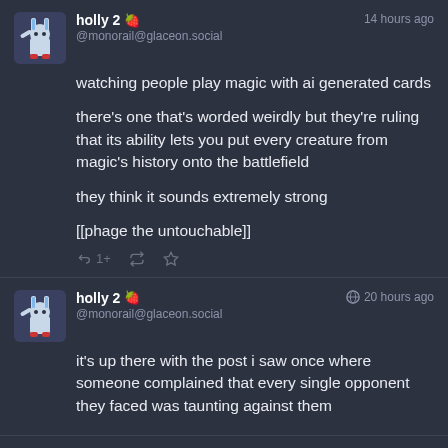holly 2 🍓
@monorail@glaceon.social
14 hours ago
watching people play magic with ai generated cards

there's one that's worded weirdly but they're ruling that its ability lets you put every creature from magic's history onto the battlefield

they think it sounds extremely strong

[[phage the untouchable]]
holly 2 🍓
@monorail@glaceon.social
20 hours ago
it's up there with the post i saw once where someone complained that every single opponent they faced was taunting against them